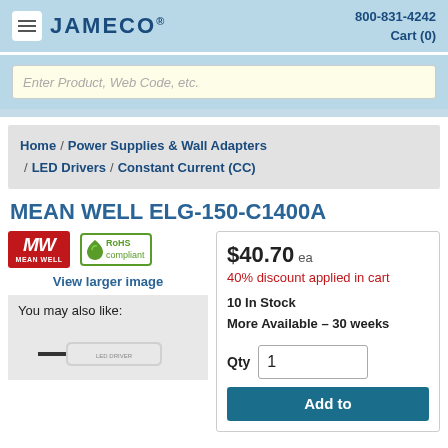JAMECO® 800-831-4242 Cart (0)
Enter Product, Web Code, etc.
Home / Power Supplies & Wall Adapters / LED Drivers / Constant Current (CC)
MEAN WELL ELG-150-C1400A
[Figure (logo): Mean Well MW logo (red) and RoHS compliant badge (green leaf)]
View larger image
You may also like:
[Figure (photo): Small product photo of a white LED driver power supply]
$40.70 ea
40% discount applied in cart
10 In Stock
More Available – 30 weeks
Qty 1